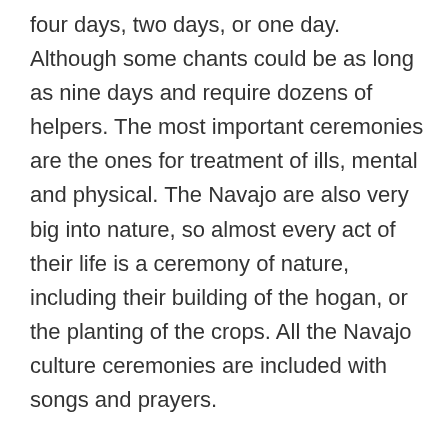four days, two days, or one day. Although some chants could be as long as nine days and require dozens of helpers. The most important ceremonies are the ones for treatment of ills, mental and physical. The Navajo are also very big into nature, so almost every act of their life is a ceremony of nature, including their building of the hogan, or the planting of the crops. All the Navajo culture ceremonies are included with songs and prayers.
In the Navajo culture and traditions there